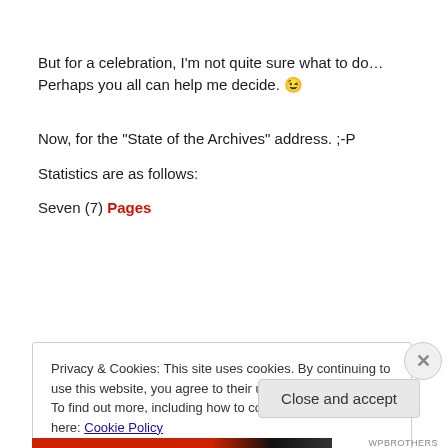But for a celebration, I'm not quite sure what to do… Perhaps you all can help me decide. 😉
Now, for the “State of the Archives” address. ;-P
Statistics are as follows:
Seven (7) Pages
Privacy & Cookies: This site uses cookies. By continuing to use this website, you agree to their use. To find out more, including how to control cookies, see here: Cookie Policy
Close and accept